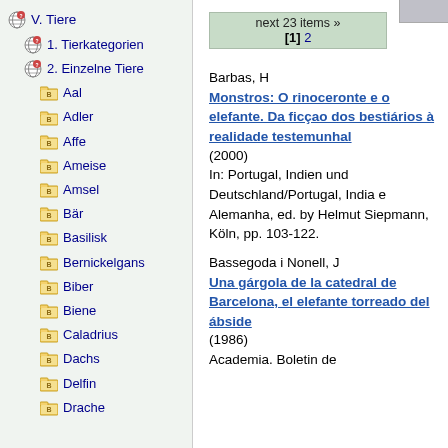V. Tiere
1. Tierkategorien
2. Einzelne Tiere
Aal
Adler
Affe
Ameise
Amsel
Bär
Basilisk
Bernickelgans
Biber
Biene
Caladrius
Dachs
Delfin
Drache
next 23 items » [1] 2
Barbas, H
Monstros: O rinoceronte e o elefante. Da ficçao dos bestiários à realidade testemunhal
(2000)
In: Portugal, Indien und Deutschland/Portugal, India e Alemanha, ed. by Helmut Siepmann, Köln, pp. 103-122.
Bassegoda i Nonell, J
Una gárgola de la catedral de Barcelona, el elefante torreado del ábside
(1986)
Academia. Boletin de